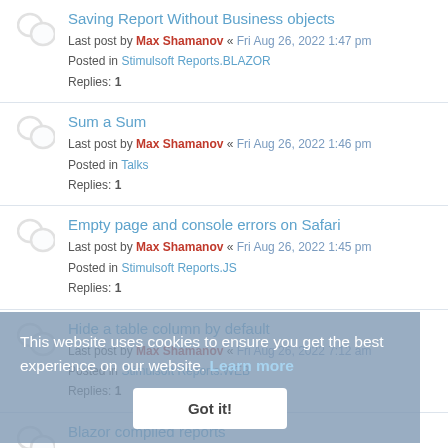Saving Report Without Business objects
Last post by Max Shamanov « Fri Aug 26, 2022 1:47 pm
Posted in Stimulsoft Reports.BLAZOR
Replies: 1
Sum a Sum
Last post by Max Shamanov « Fri Aug 26, 2022 1:46 pm
Posted in Talks
Replies: 1
Empty page and console errors on Safari
Last post by Max Shamanov « Fri Aug 26, 2022 1:45 pm
Posted in Stimulsoft Reports.JS
Replies: 1
Hide a table column by default
Last post by Max Shamanov « Fri Aug 26, 2022 7:12 am
Posted in Stimulsoft Reports.WEB
Replies: 1
Blazor compiled reports
Last post by Max Shamanov « Thu Aug 25, 2022 7:04 am
Posted in Stimulsoft Reports.BLAZOR
Replies: 2
Problem with bar chart filters
Last post by Max Shamanov « Tue Aug 23, 2022 8:00 am
Posted in Stimulsoft Reports.JS
Replies: 9
This website uses cookies to ensure you get the best experience on our website. Learn more
Got it!